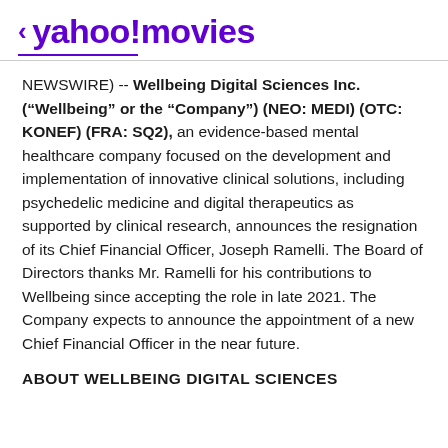< yahoo!movies
NEWSWIRE) -- Wellbeing Digital Sciences Inc. ("Wellbeing" or the "Company") (NEO: MEDI) (OTC: KONEF) (FRA: SQ2), an evidence-based mental healthcare company focused on the development and implementation of innovative clinical solutions, including psychedelic medicine and digital therapeutics as supported by clinical research, announces the resignation of its Chief Financial Officer, Joseph Ramelli. The Board of Directors thanks Mr. Ramelli for his contributions to Wellbeing since accepting the role in late 2021. The Company expects to announce the appointment of a new Chief Financial Officer in the near future.
ABOUT WELLBEING DIGITAL SCIENCES